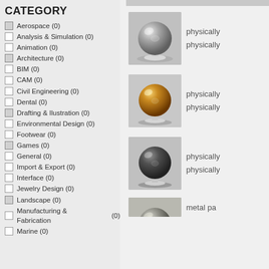CATEGORY
Aerospace (0)
Analysis & Simulation (0)
Animation (0)
Architecture (0)
BIM (0)
CAM (0)
Civil Engineering (0)
Dental (0)
Drafting & Ilustration (0)
Environmental Design (0)
Footwear (0)
Games (0)
General (0)
Import & Export (0)
Interface (0)
Jewelry Design (0)
Landscape (0)
Manufacturing & Fabrication (0)
Marine (0)
[Figure (photo): Gray marble/concrete sphere on stand - physically based material]
physically
physically
[Figure (photo): Yellow/golden sphere on stand - physically based material]
physically
physically
[Figure (photo): Dark gray sphere on stand - physically based material]
physically
physically
[Figure (photo): Bottom partial sphere - metal material]